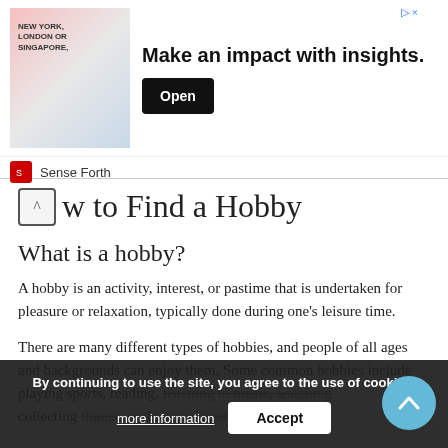[Figure (screenshot): Advertisement banner: image of businessman in New York, London or Singapore with text 'Make an impact with insights.' and an Open button. Sense Forth brand logo at bottom.]
How to Find a Hobby
What is a hobby?
A hobby is an activity, interest, or pastime that is undertaken for pleasure or relaxation, typically done during one's leisure time.
There are many different types of hobbies, and people of all ages and backgrounds can enjoy them. Some common hobbies include playing sports, reading, listening to music, watching ..., collecting things, cooking and spending time with others.
By continuing to use the site, you agree to the use of cookies. more information    Accept